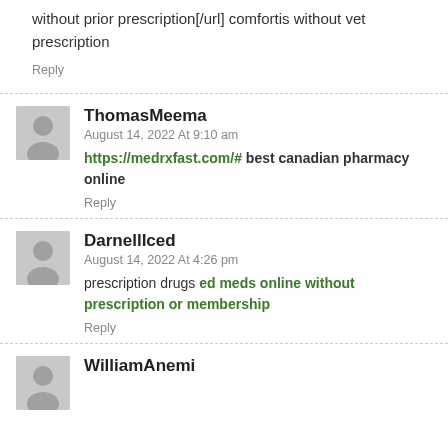without prior prescription[/url] comfortis without vet prescription
Reply
ThomasMeema
August 14, 2022 At 9:10 am
https://medrxfast.com/# best canadian pharmacy online
Reply
DarnellIced
August 14, 2022 At 4:26 pm
prescription drugs ed meds online without prescription or membership
Reply
WilliamAnemi